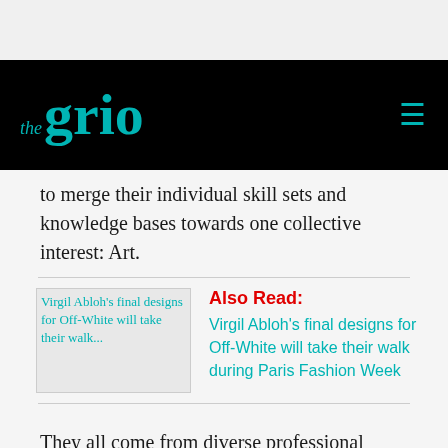the grio
to merge their individual skill sets and knowledge bases towards one collective interest: Art.
[Figure (other): Thumbnail image for article about Virgil Abloh's final designs for Off-White]
Also Read: Virgil Abloh's final designs for Off-White will take their walk during Paris Fashion Week
They all come from diverse professional backgrounds, ranging from acting to philanthropy. Wash manages the business and